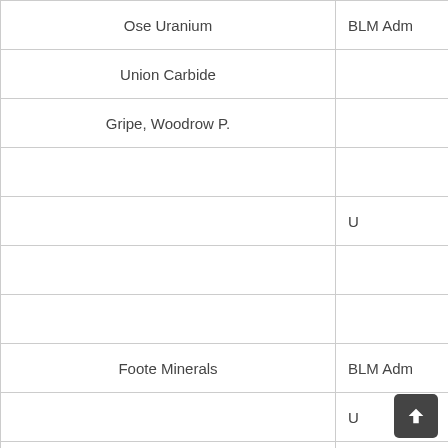| Name | Type |
| --- | --- |
| Ose Uranium | BLM Adm... |
| Union Carbide |  |
| Gripe, Woodrow P. |  |
|  |  |
|  | U... |
|  |  |
|  |  |
| Foote Minerals | BLM Adm... |
|  | U... |
| Union Carbide Corp. |  |
|  |  |
| Union Carbide | BLM Adm... |